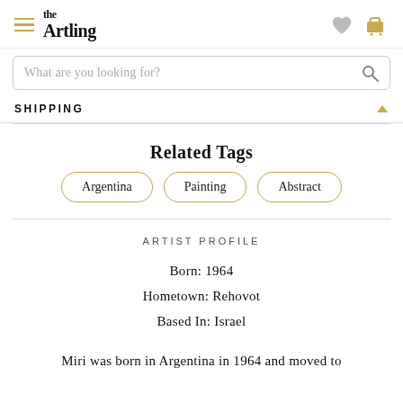the Artling
SHIPPING
Related Tags
Argentina
Painting
Abstract
ARTIST PROFILE
Born: 1964
Hometown: Rehovot
Based In: Israel
Miri was born in Argentina in 1964 and moved to